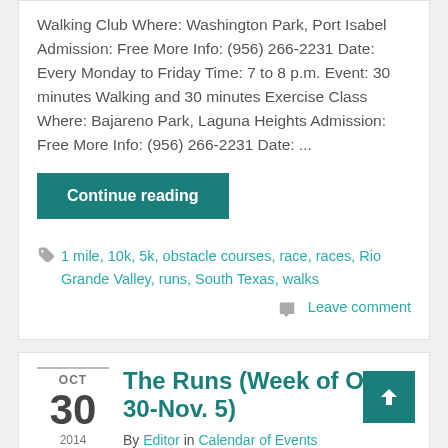Walking Club Where: Washington Park, Port Isabel Admission: Free More Info: (956) 266-2231 Date: Every Monday to Friday Time: 7 to 8 p.m. Event: 30 minutes Walking and 30 minutes Exercise Class Where: Bajareno Park, Laguna Heights Admission: Free More Info: (956) 266-2231 Date: ...
Continue reading
1 mile, 10k, 5k, obstacle courses, race, races, Rio Grande Valley, runs, South Texas, walks
Leave comment
The Runs (Week of Oct. 30-Nov. 5)
By Editor in Calendar of Events